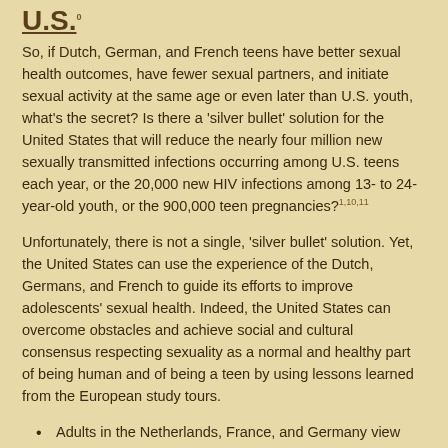U.S.
So, if Dutch, German, and French teens have better sexual health outcomes, have fewer sexual partners, and initiate sexual activity at the same age or even later than U.S. youth, what's the secret? Is there a 'silver bullet' solution for the United States that will reduce the nearly four million new sexually transmitted infections occurring among U.S. teens each year, or the 20,000 new HIV infections among 13- to 24-year-old youth, or the 900,000 teen pregnancies?[1,10,11]
Unfortunately, there is not a single, 'silver bullet' solution. Yet, the United States can use the experience of the Dutch, Germans, and French to guide its efforts to improve adolescents' sexual health. Indeed, the United States can overcome obstacles and achieve social and cultural consensus respecting sexuality as a normal and healthy part of being human and of being a teen by using lessons learned from the European study tours.
Adults in the Netherlands, France, and Germany view young people as assets, not as problems.